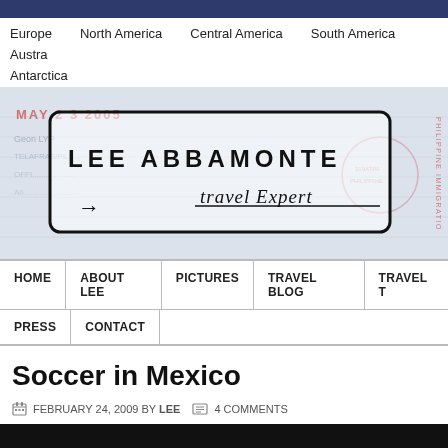Lee Abbamonte Travel Expert - website header
Europe
North America
Central America
South America
Austra...
Antarctica
[Figure (logo): Lee Abbamonte Travel Expert passport-stamp style logo on passport background with date MAY 23 2005 and Philippine Immigration markings]
HOME
ABOUT LEE
PICTURES
TRAVEL BLOG
TRAVEL T...
PRESS
CONTACT
Soccer in Mexico
FEBRUARY 24, 2009 BY LEE   4 COMMENTS
[Figure (photo): Dark/black bottom portion of a photo, content unclear]